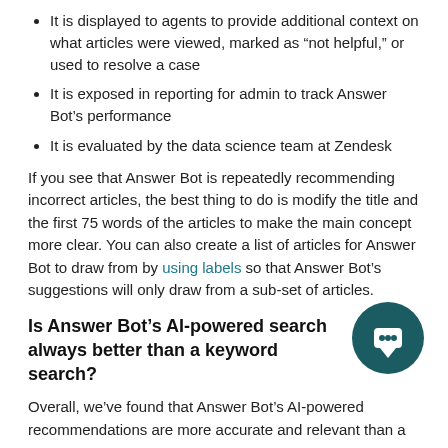It is displayed to agents to provide additional context on what articles were viewed, marked as “not helpful,” or used to resolve a case
It is exposed in reporting for admin to track Answer Bot’s performance
It is evaluated by the data science team at Zendesk
If you see that Answer Bot is repeatedly recommending incorrect articles, the best thing to do is modify the title and the first 75 words of the articles to make the main concept more clear. You can also create a list of articles for Answer Bot to draw from by using labels so that Answer Bot’s suggestions will only draw from a sub-set of articles.
Is Answer Bot’s AI-powered search always better than a keyword search?
Overall, we’ve found that Answer Bot’s AI-powered recommendations are more accurate and relevant than a